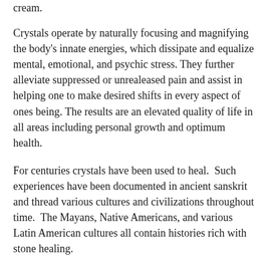cream.
Crystals operate by naturally focusing and magnifying the body's innate energies, which dissipate and equalize mental, emotional, and psychic stress. They further alleviate suppressed or unrealeased pain and assist in helping one to make desired shifts in every aspect of ones being. The results are an elevated quality of life in all areas including personal growth and optimum health.
For centuries crystals have been used to heal.  Such experiences have been documented in ancient sanskrit and thread various cultures and civilizations throughout time.  The Mayans, Native Americans, and various Latin American cultures all contain histories rich with stone healing.
It is believed each crystal or gemstone embodies a unique vibration which serves to assist with healing different aspects of the physical, mental, emotional, & spiritual body.